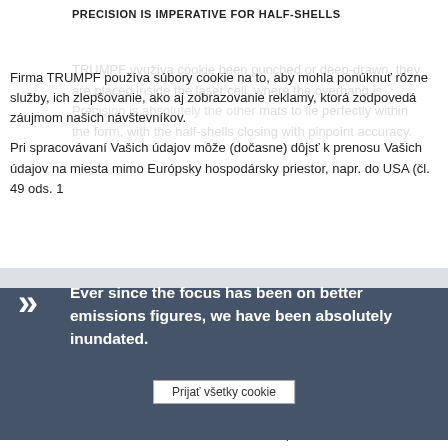PRECISION IS IMPERATIVE FOR HALF-SHELLS
TRUMPF využíva cookie been punched or deep-drawn, they are placed inside the laser cell, where the overhang is Precision is absolutely the other mats to lie perfectly within the form, with the half-shells closing with pinpoint accuracy.
Firma TRUMPF používa súbory cookie na to, aby mohla ponúknuť rôzne služby, ich zlepšovanie, ako aj zobrazovanie reklamy, ktorá zodpovedá záujmom našich návštevníkov.
Pri spracovávaní Vašich údajov môže (dočasne) dôjsť k prenosu Vašich údajov na miesta mimo Európsky hospodársky priestor, napr. do USA (čl. 49 ods. 1
Ever since the focus has been on better emissions figures, we have been absolutely inundated.
Prijať všetky cookie
Ochrana údajovTiráž
Jonas Boettcher, Business Development at Isolite